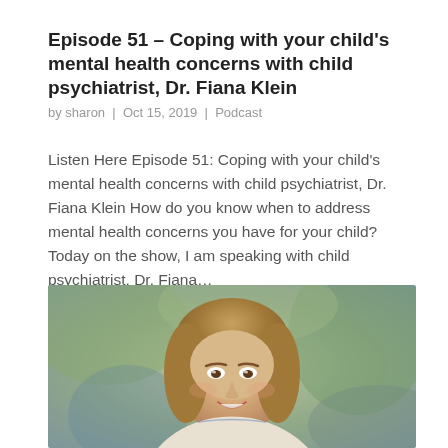Episode 51 – Coping with your child's mental health concerns with child psychiatrist, Dr. Fiana Klein
by sharon | Oct 15, 2019 | Podcast
Listen Here Episode 51: Coping with your child's mental health concerns with child psychiatrist, Dr. Fiana Klein How do you know when to address mental health concerns you have for your child? Today on the show, I am speaking with child psychiatrist, Dr. Fiana...
[Figure (photo): Portrait photo of Dr. Fiana Klein, a woman with shoulder-length brown hair, smiling broadly, wearing a colorful necklace, with a blurred green outdoor background.]